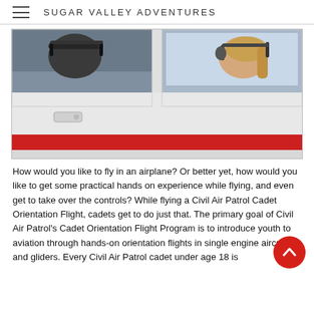SUGAR VALLEY ADVENTURES
[Figure (photo): Two people in a small single-engine aircraft cockpit seen through the side windows. On the left, a person wearing a dark headset. On the right, a young woman wearing a headset, smiling. The plane has a white body with a red horizontal stripe.]
How would you like to fly in an airplane? Or better yet, how would you like to get some practical hands on experience while flying, and even get to take over the controls? While flying a Civil Air Patrol Cadet Orientation Flight, cadets get to do just that. The primary goal of Civil Air Patrol's Cadet Orientation Flight Program is to introduce youth to aviation through hands-on orientation flights in single engine aircraft and gliders. Every Civil Air Patrol cadet under age 18 is